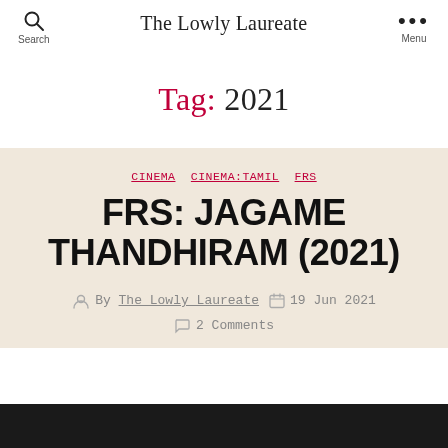The Lowly Laureate
Tag: 2021
CINEMA  CINEMA:TAMIL  FRS
FRS: JAGAME THANDHIRAM (2021)
By The Lowly Laureate  19 Jun 2021
2 Comments